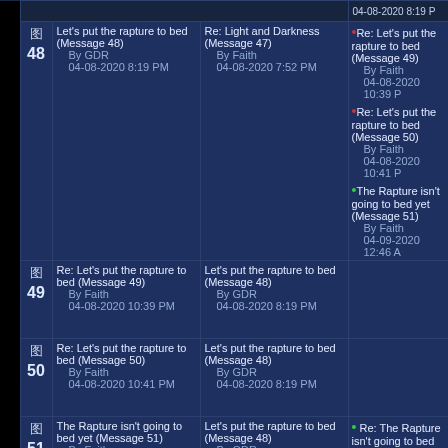|  | # | Message | Parent | Replies |
| --- | --- | --- | --- | --- |
| 48 | Let's put the rapture to bed (Message 48)
By GDR
04-08-2020 8:19 PM | Re: Light and Darkness (Message 47)
By Faith
04-08-2020 7:52 PM | Re: Let's put the rapture to bed (Message 49)
By Faith
04-08-2020 10:39 PM
Re: Let's put the rapture to bed (Message 50)
By Faith
04-08-2020 10:41 PM
The Rapture isn't going to bed yet (Message 51)
By Faith
04-09-2020 12:46 AM |
| 49 | Re: Let's put the rapture to bed (Message 49)
By Faith
04-08-2020 10:39 PM | Let's put the rapture to bed (Message 48)
By GDR
04-08-2020 8:19 PM |  |
| 50 | Re: Let's put the rapture to bed (Message 50)
By Faith
04-08-2020 10:41 PM | Let's put the rapture to bed (Message 48)
By GDR
04-08-2020 8:19 PM |  |
| 51 | The Rapture isn't going to bed yet (Message 51)
By Faith
04-09-2020 12:46 AM | Let's put the rapture to bed (Message 48)
By GDR
04-08-2020 8:19 PM | Re: The Rapture isn't going to bed yet (Message 52)
By GDR
04-09-2020 1:09 PM |